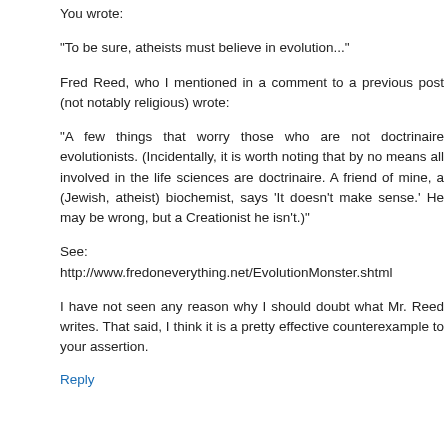You wrote:
"To be sure, atheists must believe in evolution..."
Fred Reed, who I mentioned in a comment to a previous post (not notably religious) wrote:
"A few things that worry those who are not doctrinaire evolutionists. (Incidentally, it is worth noting that by no means all involved in the life sciences are doctrinaire. A friend of mine, a (Jewish, atheist) biochemist, says 'It doesn't make sense.' He may be wrong, but a Creationist he isn't.)"
See:
http://www.fredoneverything.net/EvolutionMonster.shtml
I have not seen any reason why I should doubt what Mr. Reed writes. That said, I think it is a pretty effective counterexample to your assertion.
Reply